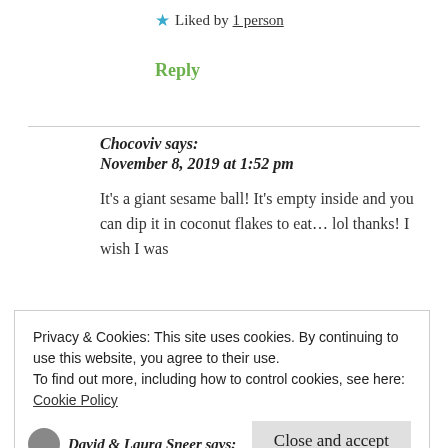★ Liked by 1 person
Reply
Chocoviv says:
November 8, 2019 at 1:52 pm
It's a giant sesame ball! It's empty inside and you can dip it in coconut flakes to eat... lol thanks! I wish I was
Privacy & Cookies: This site uses cookies. By continuing to use this website, you agree to their use.
To find out more, including how to control cookies, see here: Cookie Policy
Close and accept
David & Laura Sneer says: